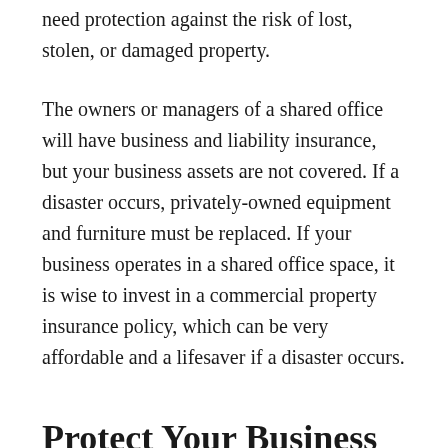need protection against the risk of lost, stolen, or damaged property.
The owners or managers of a shared office will have business and liability insurance, but your business assets are not covered. If a disaster occurs, privately-owned equipment and furniture must be replaced. If your business operates in a shared office space, it is wise to invest in a commercial property insurance policy, which can be very affordable and a lifesaver if a disaster occurs.
Protect Your Business Assets in a Shared Office Space